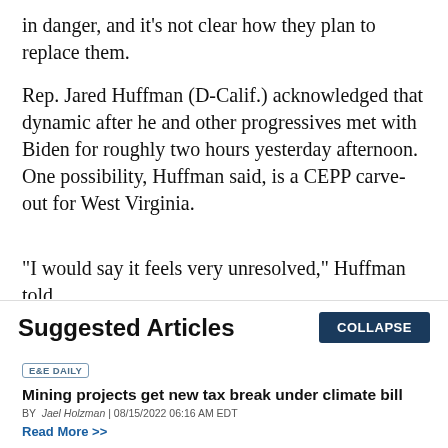in danger, and it’s not clear how they plan to replace them.
Rep. Jared Huffman (D-Calif.) acknowledged that dynamic after he and other progressives met with Biden for roughly two hours yesterday afternoon. One possibility, Huffman said, is a CEPP carve-out for West Virginia.
“I would say it feels very unresolved,” Huffman told
Suggested Articles
E&E DAILY
Mining projects get new tax break under climate bill
BY Jael Holzman | 08/15/2022 06:16 AM EDT
Read More >>
E&E DAILY
'A lot more to do': Lawmakers eye additional climate action